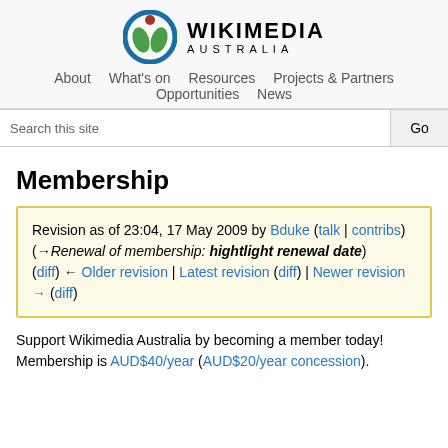[Figure (logo): Wikimedia Australia logo: circular blue/green icon with red dot, beside bold text WIKIMEDIA AUSTRALIA]
About   What's on   Resources   Projects & Partners   Opportunities   News
Search this site   Go
Membership
Revision as of 23:04, 17 May 2009 by Bduke (talk | contribs) (→Renewal of membership: hightlight renewal date)
(diff) ← Older revision | Latest revision (diff) | Newer revision → (diff)
Support Wikimedia Australia by becoming a member today! Membership is AUD$40/year (AUD$20/year concession).